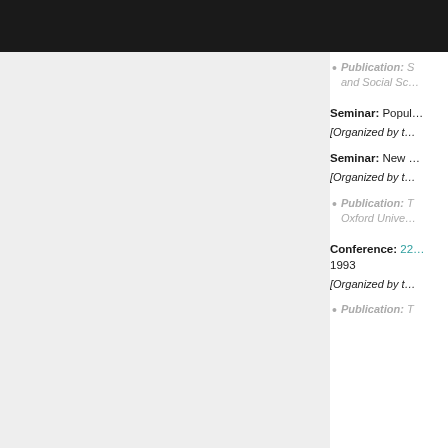Publication: ... and Social Sc...
Seminar: Popul... [Organized by t...
Seminar: New ... [Organized by t...
Publication: ... Oxford Unive...
Conference: 22... 1993 [Organized by t...
Publication: ...